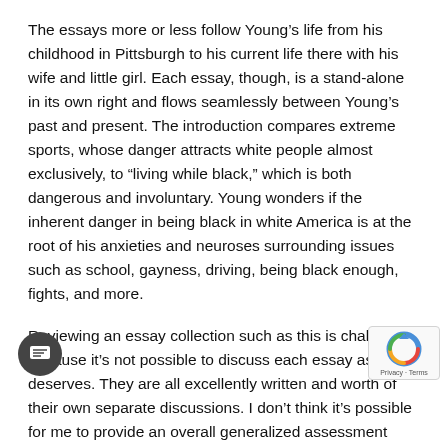The essays more or less follow Young's life from his childhood in Pittsburgh to his current life there with his wife and little girl. Each essay, though, is a stand-alone in its own right and flows seamlessly between Young's past and present. The introduction compares extreme sports, whose danger attracts white people almost exclusively, to “living while black,” which is both dangerous and involuntary. Young wonders if the inherent danger in being black in white America is at the root of his anxieties and neuroses surrounding issues such as school, gayness, driving, being black enough, fights, and more.
Reviewing an essay collection such as this is challenging because it’s not possible to discuss each essay as it deserves. They are all excellently written and worth of their own separate discussions. I don’t think it’s possible for me to provide an overall generalized assessment without sounding vapid. What I will do instead is focus